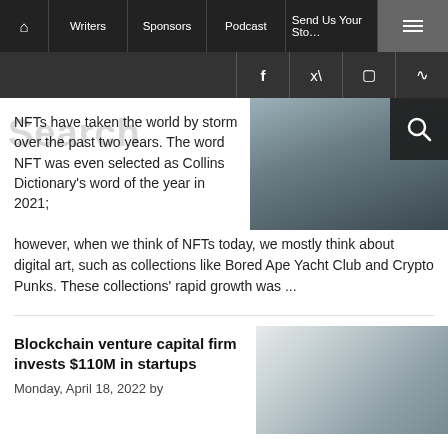Home | Writers | Sponsors | Podcast | Send Us Your Story | Menu
Facebook | Twitter | Instagram | RSS
NFTs have taken the world by storm over the past two years. The word NFT was even selected as Collins Dictionary's word of the year in 2021; however, when we think of NFTs today, we mostly think about digital art, such as collections like Bored Ape Yacht Club and Crypto Punks. These collections' rapid growth was ...
[Figure (photo): Person holding a smartphone, dark overlay with search icon]
Blockchain venture capital firm invests $110M in startups
Monday, April 18, 2022 by
[Figure (photo): Person wearing mask at a business meeting with laptop]